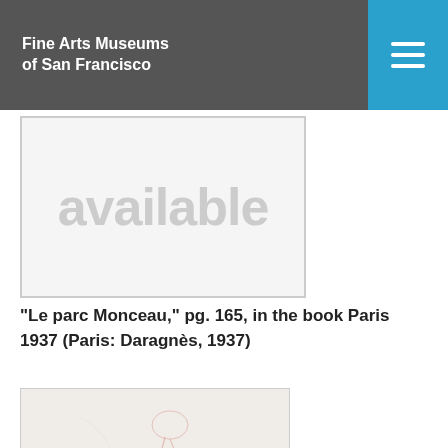Fine Arts Museums of San Francisco
[Figure (photo): Image not available placeholder with grey border]
"Le parc Monceau," pg. 165, in the book Paris 1937 (Paris: Daragnès, 1937)
[Figure (illustration): Artwork page showing a delicate red chalk sketch of a figure at top, and below it italic French text titled LE SONNET DU CRÉPUSCULE AU SABLE with verses beginning 'Anfin, la création était par trop toujours la même...']